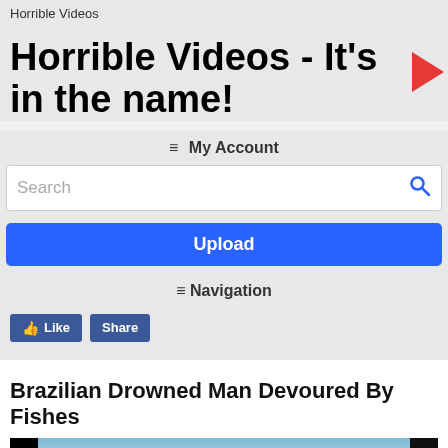Horrible Videos
Horrible Videos - It's in the name!
≡ My Account
Search
Upload
≡ Navigation
👍 Like   Share
Brazilian Drowned Man Devoured By Fishes
[Figure (screenshot): Video thumbnail showing 'HORRIBLEVIDEOS' watermark on a dark/blurred face image]